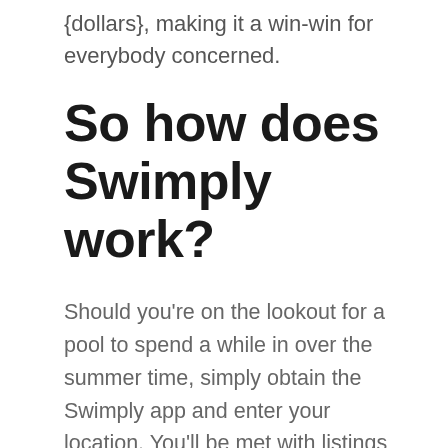{dollars}, making it a win-win for everybody concerned.
So how does Swimply work?
Should you’re on the lookout for a pool to spend a while in over the summer time, simply obtain the Swimply app and enter your location. You’ll be met with listings of swimming pools round your location. From there, you’ll have the ability to e-book an appointment by the hour and luxuriate in a non-public pool outing.
Conversely, should you’re a pool proprietor seeking to make some extra cash, you possibly can